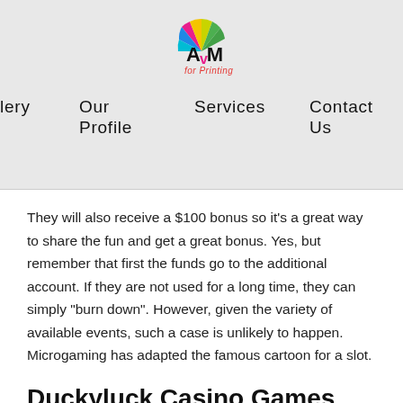[Figure (logo): AVM for Printing colorful logo with semicircle of colored segments and stylized text 'AvM for Printing']
lery   Our Profile   Services   Contact Us
They will also receive a $100 bonus so it's a great way to share the fun and get a great bonus. Yes, but remember that first the funds go to the additional account. If they are not used for a long time, they can simply "burn down". However, given the variety of available events, such a case is unlikely to happen. Microgaming has adapted the famous cartoon for a slot.
Duckyluck Casino Games And Software – real money slot machines